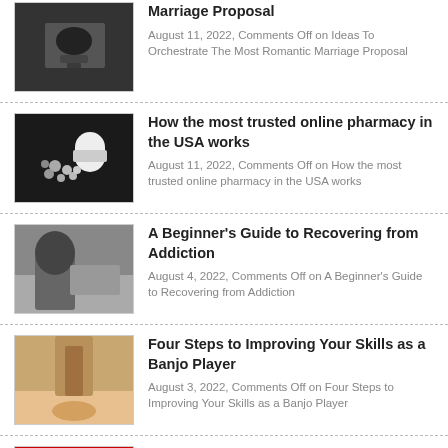Marriage Proposal
August 11, 2022, Comments Off on Ideas To Orchestrate The Most Romantic Marriage Proposal
How the most trusted online pharmacy in the USA works
August 11, 2022, Comments Off on How the most trusted online pharmacy in the USA works
A Beginner's Guide to Recovering from Addiction
August 4, 2022, Comments Off on A Beginner's Guide to Recovering from Addiction
Four Steps to Improving Your Skills as a Banjo Player
August 3, 2022, Comments Off on Four Steps to Improving Your Skills as a Banjo Player
The Rise Of South Korea's Medical Tourism
August 2, 2022, Comments Off on The Rise Of South Korea's Medical Tourism
5 Super Foods Health Professionals Like